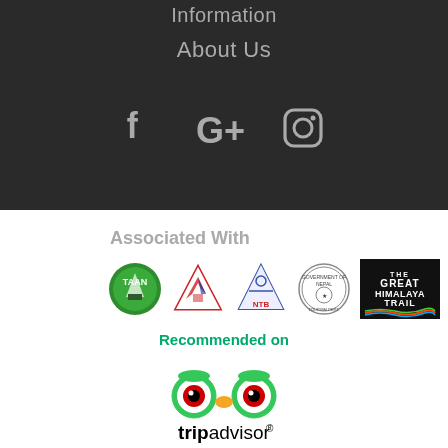Information
About Us
[Figure (illustration): Social media icons: Facebook (f), Google+ (G+), Instagram (camera icon) in grey on dark background]
Associated With
[Figure (logo): Row of association logos: TAAN (green circle with mountain), NMA (red/blue triangle mountain Nepal flag), NTB (trekking figure with mountain), Government of Nepal tourism seal, The Great Himalaya Trail (black box with colored text)]
Recommended on
[Figure (logo): TripAdvisor logo with owl face icon and tripadvisor text]
We Accept